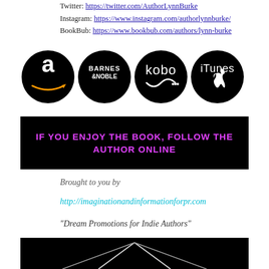Twitter: https://twitter.com/AuthorLynnBurke
Instagram: https://www.instagram.com/authorlynnburke/
BookBub: https://www.bookbub.com/authors/lynn-burke
[Figure (logo): Four store logos on black circles: Amazon, Barnes & Noble, Kobo, iTunes]
[Figure (infographic): Black banner with pink/magenta text: IF YOU ENJOY THE BOOK, FOLLOW THE AUTHOR ONLINE]
Brought to you by
http://imaginationandinformationforpr.com
“Dream Promotions for Indie Authors”
[Figure (photo): Black background with white geometric lines forming an X or chevron shape]